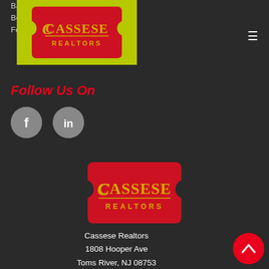Bayville
Beachwood
Forked River
[Figure (logo): Cassese Realtors logo — red ticket-shaped badge on yellow-green background with CASSESE in gold and REALTORS in red text]
Follow Us On
[Figure (logo): Facebook icon circle (grey)]
[Figure (logo): LinkedIn icon circle (grey)]
[Figure (logo): Cassese Realtors main logo — large red ticket-shaped badge with CASSESE in gold and REALTORS in red]
Cassese Realtors
1808 Hooper Ave
Toms River, NJ 08753
Phone: 732-349-5535